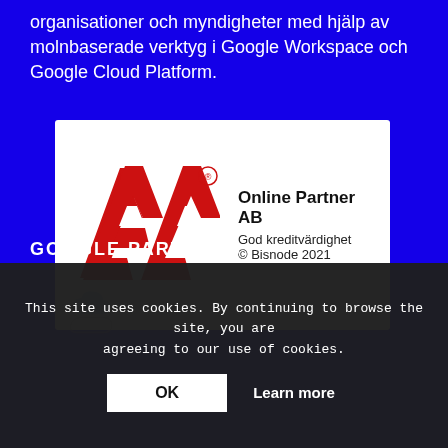organisationer och myndigheter med hjälp av molnbaserade verktyg i Google Workspace och Google Cloud Platform.
[Figure (logo): AA credit rating badge with red AA logo, registered trademark symbol, text 'Online Partner AB', 'God kreditvärdighet', '© Bisnode 2021' on white background]
GOOGLE PARTNERS
[Figure (logo): Google Cloud logo icon (multicolor cloud) with 'Google Cloud' text, partially visible]
This site uses cookies. By continuing to browse the site, you are agreeing to our use of cookies.
OK   Learn more